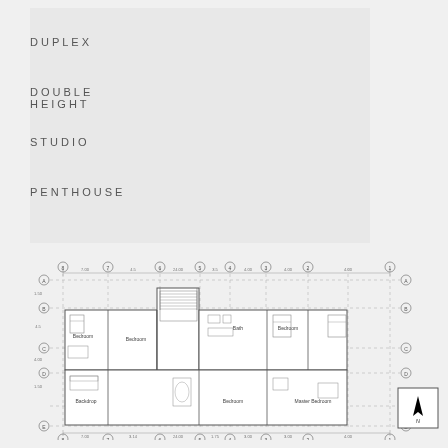DUPLEX
DOUBLE HEIGHT
STUDIO
PENTHOUSE
[Figure (engineering-diagram): Architectural floor plan (duplex/penthouse) showing rooms including Bedroom, Bath, Bedroom, Backdrop, Bedroom, Master Bedroom, with structural grid lines labeled 1-8 horizontally and A-E vertically, with dimension annotations. North arrow compass in bottom right corner.]